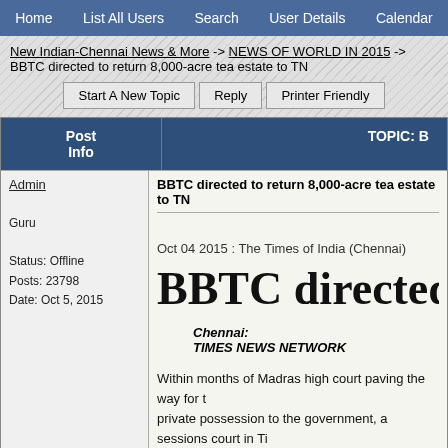Home | List All Users | Search | User Details | Calendar
New Indian-Chennai News & More -> NEWS OF WORLD IN 2015 -> BBTC directed to return 8,000-acre tea estate to TN
Start A New Topic | Reply | Printer Friendly
Post Info | TOPIC: B
Admin
Guru
Status: Offline
Posts: 23798
Date: Oct 5, 2015
BBTC directed to return 8,000-acre tea estate to TN
Oct 04 2015 : The Times of India (Chennai)
BBTC directed to return
Chennai:
TIMES NEWS NETWORK
Within months of Madras high court paving the way for t
private possession to the government, a sessions court in Ti